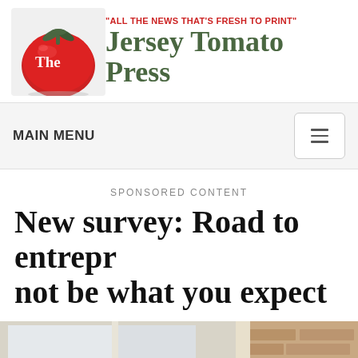[Figure (logo): The Jersey Tomato Press newspaper logo with red tomato image and green serif text, tagline 'ALL THE NEWS THAT'S FRESH TO PRINT' in red]
MAIN MENU
SPONSORED CONTENT
New survey: Road to entrepr not be what you expect
[Figure (photo): Partial photo showing a window frame and brick wall, appears to be a home or building exterior]